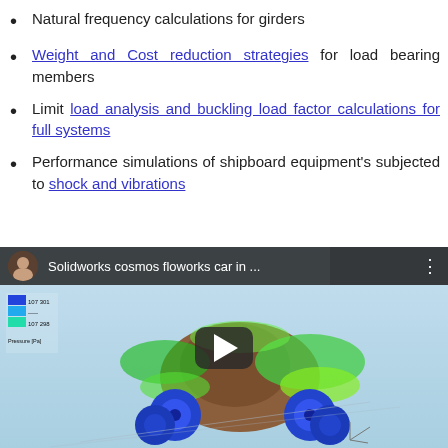Natural frequency calculations for girders
Weight and Cost reduction strategies for load bearing members
Limit load analysis and buckling load factor calculations for full systems
Performance simulations of shipboard equipment's subjected to shock and vibrations
[Figure (screenshot): YouTube video thumbnail showing a Solidworks cosmos floworks car simulation with title 'Solidworks cosmos floworks car in ...' and a play button overlay. The video shows a 3D car model with green airflow visualization on a light blue background.]